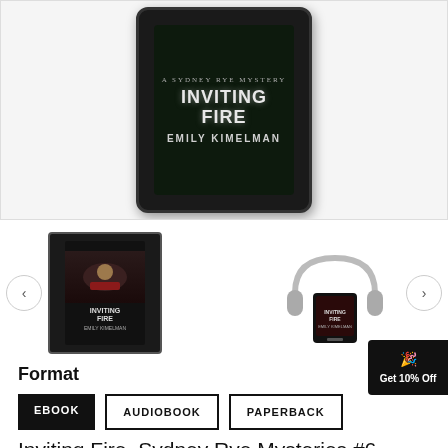[Figure (photo): Kindle e-reader device displaying the cover of 'Inviting Fire: A Sydney Rye Mystery' by Emily Kimelman, shown against a light gray background]
[Figure (photo): Thumbnail of 'Inviting Fire' ebook cover shown on Kindle device]
[Figure (photo): Thumbnail of 'Inviting Fire' audiobook shown with headphones and smartphone]
Format
EBOOK
AUDIOBOOK
PAPERBACK
Inviting Fire, Sydney Rye Mysteries #6
175 reviews
$5.99  $6.99